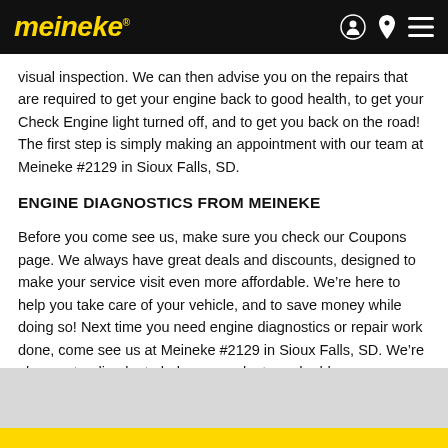meineke
visual inspection. We can then advise you on the repairs that are required to get your engine back to good health, to get your Check Engine light turned off, and to get you back on the road! The first step is simply making an appointment with our team at Meineke #2129 in Sioux Falls, SD.
ENGINE DIAGNOSTICS FROM MEINEKE
Before you come see us, make sure you check our Coupons page. We always have great deals and discounts, designed to make your service visit even more affordable. We’re here to help you take care of your vehicle, and to save money while doing so! Next time you need engine diagnostics or repair work done, come see us at Meineke #2129 in Sioux Falls, SD. We’re always standing by to help you evaluate and address your engine issues.